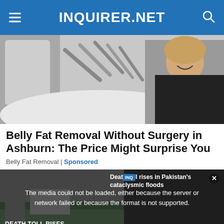INQUIRER.NET
[Figure (photo): Woman lying on treatment table with medical/cosmetic device tubes positioned over her body, smiling, in a clinical setting with gray equipment visible.]
Belly Fat Removal Without Surgery in Ashburn: The Price Might Surprise You
Belly Fat Removal | Sponsored
[Figure (screenshot): Video player showing 'Death toll rises in Pakistan's cataclysmic floods' with error message overlay: 'The media could not be loaded, either because the server or network failed or because the format is not supported.' Video thumbnail shows flood-related imagery with on-screen text 'DEATH TOLL RISES IN PAKISTAN'S CATACLYSMIC FLOODS'.]